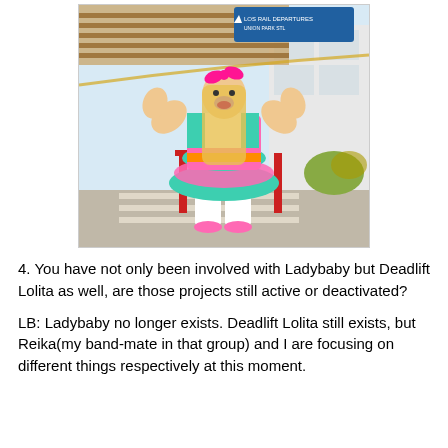[Figure (photo): A muscular person dressed in a colorful pink and teal tiered lolita-style dress with white knee-high socks and pink shoes, flexing both arms in a bodybuilder pose. They have long blonde hair with a pink bow and are standing outdoors in front of a building with a directional sign overhead.]
4. You have not only been involved with Ladybaby but Deadlift Lolita as well, are those projects still active or deactivated?
LB: Ladybaby no longer exists. Deadlift Lolita still exists, but Reika(my band-mate in that group) and I are focusing on different things respectively at this moment.